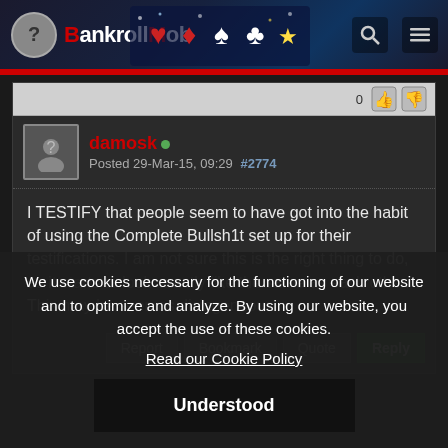[Figure (screenshot): The BankrollMob website header with logo, casino-themed banner graphics, search icon, and hamburger menu icon on dark blue background with red bottom border]
damosk • Posted 29-Mar-15, 09:29 #2774
I TESTIFY that people seem to have got into the habit of using the Complete Bullsh1t set up for their testifications. I am not sure this is the right thing to do, as it starts to look exactly like the same as each other. This may be seen as disingenuous.
Report | Bookmark | Quote | Reply
We use cookies necessary for the functioning of our website and to optimize and analyze. By using our website, you accept the use of these cookies.
Read our Cookie Policy
Understood